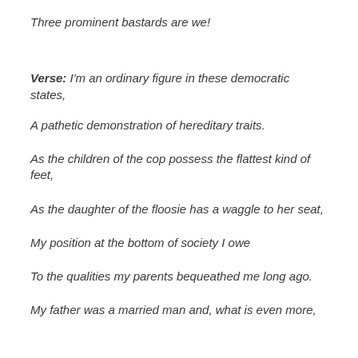Three prominent bastards are we!
Verse: I'm an ordinary figure in these democratic states,
A pathetic demonstration of hereditary traits.
As the children of the cop possess the flattest kind of feet,
As the daughter of the floosie has a waggle to her seat,
My position at the bottom of society I owe
To the qualities my parents bequeathed me long ago.
My father was a married man and, what is even more,